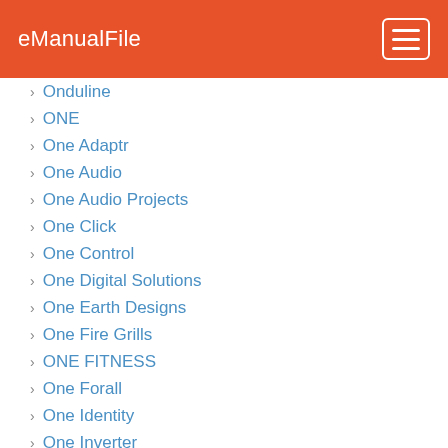eManualFile
Onduline
ONE
One Adaptr
One Audio
One Audio Projects
One Click
One Control
One Digital Solutions
One Earth Designs
One Fire Grills
ONE FITNESS
One Forall
One Identity
One Inverter
One Life
One Link
One Lux
One Rehab
One Remote
One Step